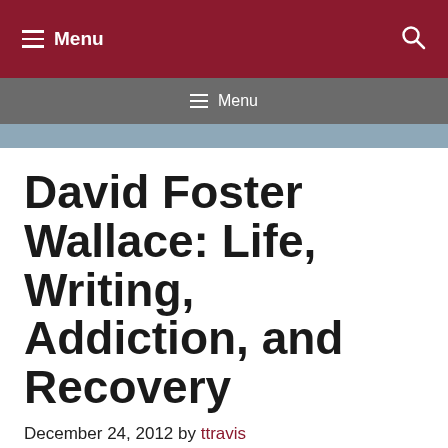Menu
Menu
David Foster Wallace: Life, Writing, Addiction, and Recovery
December 24, 2012 by ttravis